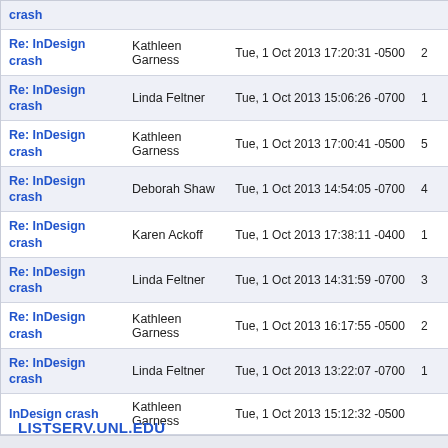| Subject | From | Date |  |
| --- | --- | --- | --- |
| crash |  |  |  |
| Re: InDesign crash | Kathleen Garness | Tue, 1 Oct 2013 17:20:31 -0500 | 2 |
| Re: InDesign crash | Linda Feltner | Tue, 1 Oct 2013 15:06:26 -0700 | 1 |
| Re: InDesign crash | Kathleen Garness | Tue, 1 Oct 2013 17:00:41 -0500 | 5 |
| Re: InDesign crash | Deborah Shaw | Tue, 1 Oct 2013 14:54:05 -0700 | 4 |
| Re: InDesign crash | Karen Ackoff | Tue, 1 Oct 2013 17:38:11 -0400 | 1 |
| Re: InDesign crash | Linda Feltner | Tue, 1 Oct 2013 14:31:59 -0700 | 3 |
| Re: InDesign crash | Kathleen Garness | Tue, 1 Oct 2013 16:17:55 -0500 | 2 |
| Re: InDesign crash | Linda Feltner | Tue, 1 Oct 2013 13:22:07 -0700 | 1 |
| InDesign crash | Kathleen Garness | Tue, 1 Oct 2013 15:12:32 -0500 |  |
LISTSERV.UNL.EDU